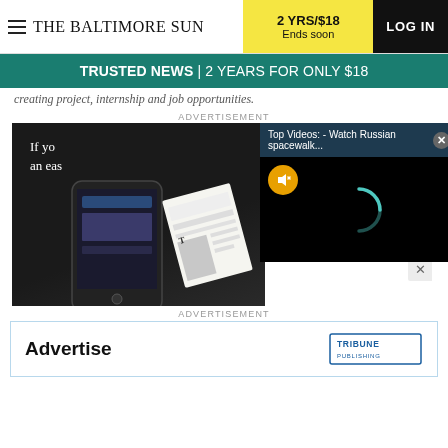THE BALTIMORE SUN | 2 YRS/$18 Ends soon | LOG IN
TRUSTED NEWS | 2 YEARS FOR ONLY $18
creating project, internship and job opportunities.
ADVERTISEMENT
[Figure (screenshot): Advertisement showing mobile devices with app screenshots and a video popup overlay titled 'Top Videos: - Watch Russian spacewalk...' with a loading spinner on black background and a mute button]
ADVERTISEMENT
[Figure (screenshot): Advertisement banner reading 'Advertise' with Tribune Publishing logo]